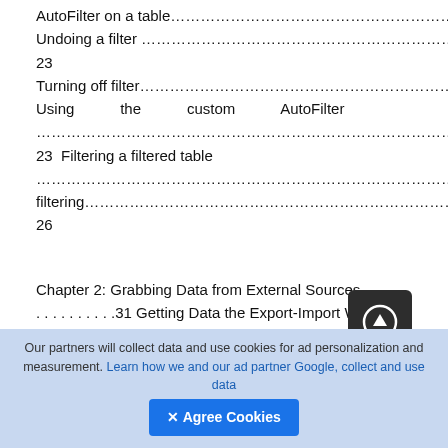AutoFilter on a table…………………………………………………………………………………21
Undoing a filter ………………………………………………………………………………………23
Turning off filter………………………………………………………………………………………23
Using the custom AutoFilter ………………………………………………………………………23 Filtering a filtered table ……………………………………………………………………………25 Using advanced filtering………………………………………………………………………………26
Chapter 2: Grabbing Data from External Sources . . . . . . . . . . . . .31 Getting Data the Export-Import Way ……………………………………………………………31 Exporting: The first step………………………………………………………………………………32 Importing: second step (if necessary) ……………………………………………………………36
xii
Our partners will collect data and use cookies for ad personalization and measurement. Learn how we and our ad partner Google, collect and use data
✕ Agree Cookies